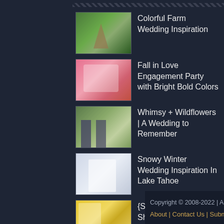Colorful Farm Wedding Inspiration
Fall in Love Engagement Party with Bright Bold Colors
Whimsy + Wildflowers | A Wedding to Remember
Snowy Winter Wedding Inspiration In Lake Tahoe
{Sunshine Soiree}: Shades of Yellow, Gray + White
Copyright © 2008-2022 | All Rights Reserved | About | Contact Us | Submissions | Privacy